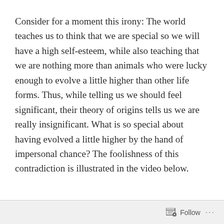Consider for a moment this irony: The world teaches us to think that we are special so we will have a high self-esteem, while also teaching that we are nothing more than animals who were lucky enough to evolve a little higher than other life forms. Thus, while telling us we should feel significant, their theory of origins tells us we are really insignificant. What is so special about having evolved a little higher by the hand of impersonal chance? The foolishness of this contradiction is illustrated in the video below.
Follow ···